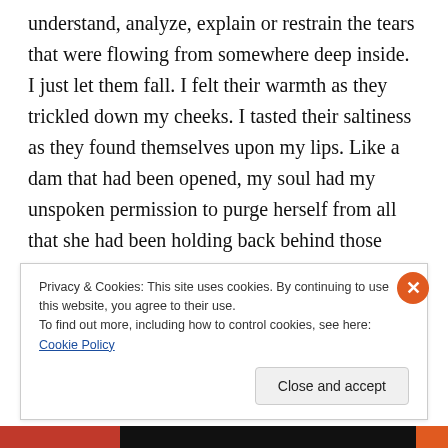understand, analyze, explain or restrain the tears that were flowing from somewhere deep inside. I just let them fall. I felt their warmth as they trickled down my cheeks. I tasted their saltiness as they found themselves upon my lips. Like a dam that had been opened, my soul had my unspoken permission to purge herself from all that she had been holding back behind those fortified walls. Oh, I’m sure had there been certain onlookers, they would have scoffed at my emotion, yet in this moment, it was just me, my Father and the gentle breeze that rustled through my
Privacy & Cookies: This site uses cookies. By continuing to use this website, you agree to their use.
To find out more, including how to control cookies, see here: Cookie Policy